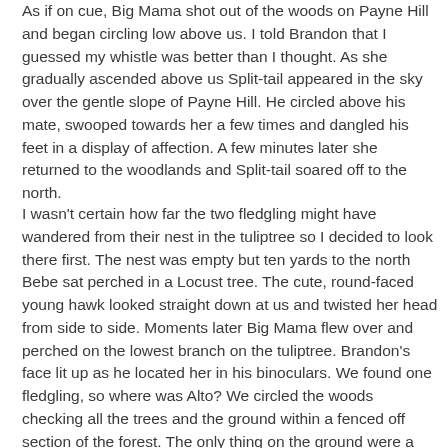As if on cue, Big Mama shot out of the woods on Payne Hill and began circling low above us. I told Brandon that I guessed my whistle was better than I thought. As she gradually ascended above us Split-tail appeared in the sky over the gentle slope of Payne Hill. He circled above his mate, swooped towards her a few times and dangled his feet in a display of affection. A few minutes later she returned to the woodlands and Split-tail soared off to the north.
I wasn't certain how far the two fledgling might have wandered from their nest in the tuliptree so I decided to look there first. The nest was empty but ten yards to the north Bebe sat perched in a Locust tree. The cute, round-faced young hawk looked straight down at us and twisted her head from side to side. Moments later Big Mama flew over and perched on the lowest branch on the tuliptree. Brandon's face lit up as he located her in his binoculars. We found one fledgling, so where was Alto? We circled the woods checking all the trees and the ground within a fenced off section of the forest. The only thing on the ground were a few foolish chipmunks tempting the watchful Big Mama. Near Battle Pass we located a Red-eyed Vireo that has been singing in the area the four years I've lived here. With no sign of Alto and the hour getting late we decided to head back. As we